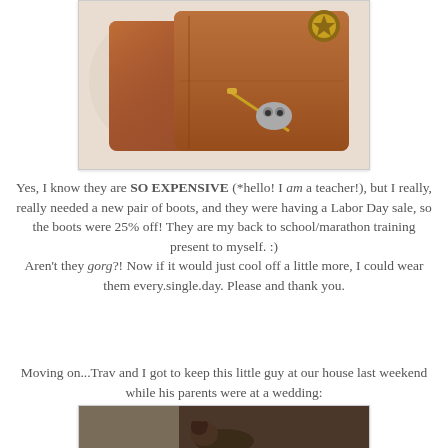[Figure (photo): Close-up photograph of brown leather boots/bag with decorative hardware and zipper details on a light patterned background]
Yes, I know they are SO EXPENSIVE (*hello! I am a teacher!), but I really, really needed a new pair of boots, and they were having a Labor Day sale, so the boots were 25% off! They are my back to school/marathon training present to myself. :)
Aren't they gorg?! Now if it would just cool off a little more, I could wear them every.single.day. Please and thank you.
Moving on...Trav and I got to keep this little guy at our house last weekend while his parents were at a wedding:
[Figure (photo): Bottom portion of a photo showing a small animal (likely a dog) on a dark background]